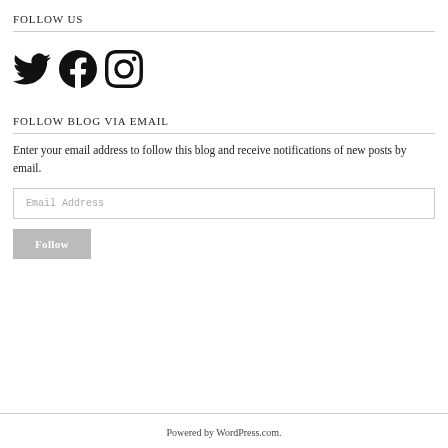FOLLOW US
[Figure (illustration): Social media icons: Twitter bird logo, Facebook logo, Instagram camera logo]
FOLLOW BLOG VIA EMAIL
Enter your email address to follow this blog and receive notifications of new posts by email.
Email Address (input field)
Follow (button)
Powered by WordPress.com.